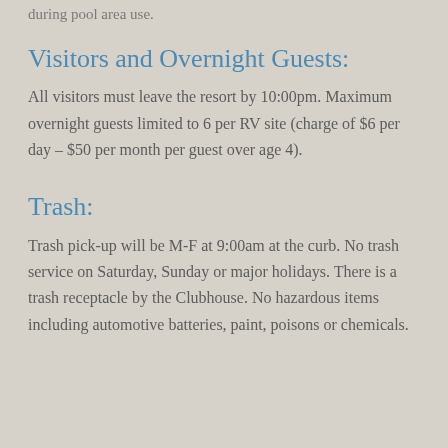during pool area use.
Visitors and Overnight Guests:
All visitors must leave the resort by 10:00pm. Maximum overnight guests limited to 6 per RV site (charge of $6 per day – $50 per month per guest over age 4).
Trash:
Trash pick-up will be M-F at 9:00am at the curb. No trash service on Saturday, Sunday or major holidays. There is a trash receptacle by the Clubhouse. No hazardous items including automotive batteries, paint, poisons or chemicals.